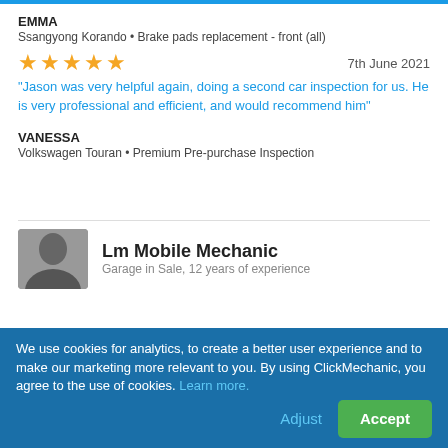EMMA
Ssangyong Korando • Brake pads replacement - front (all)
★★★★★  7th June 2021
"Jason was very helpful again, doing a second car inspection for us. He is very professional and efficient, and would recommend him"
VANESSA
Volkswagen Touran • Premium Pre-purchase Inspection
Lm Mobile Mechanic
Garage in Sale, 12 years of experience
We use cookies for analytics, to create a better user experience and to make our marketing more relevant to you. By using ClickMechanic, you agree to the use of cookies. Learn more.